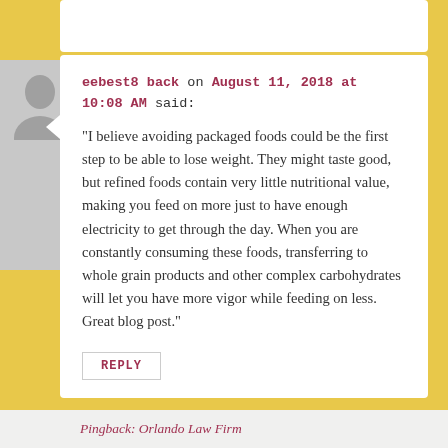eebest8 back on August 11, 2018 at 10:08 AM said:
“I believe avoiding packaged foods could be the first step to be able to lose weight. They might taste good, but refined foods contain very little nutritional value, making you feed on more just to have enough electricity to get through the day. When you are constantly consuming these foods, transferring to whole grain products and other complex carbohydrates will let you have more vigor while feeding on less. Great blog post.”
REPLY
Pingback: Orlando Law Firm